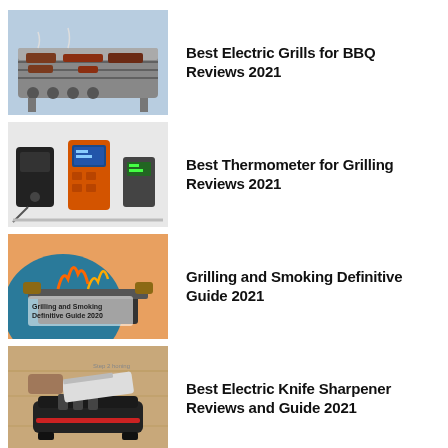[Figure (photo): A gas grill with meat and vegetables cooking on it, viewed from above at an angle, with burner knobs visible.]
Best Electric Grills for BBQ Reviews 2021
[Figure (photo): Several grilling thermometers including wireless and digital probe types, displayed on a white background.]
Best Thermometer for Grilling Reviews 2021
[Figure (photo): Collage image showing grilling/smoking scene with overlay text reading 'Grilling and Smoking Definitive Guide 2020'.]
Grilling and Smoking Definitive Guide 2021
[Figure (photo): A person sharpening a knife on an electric knife sharpener placed on a wooden surface, with a watermark reading 'Step 2 honing'.]
Best Electric Knife Sharpener Reviews and Guide 2021